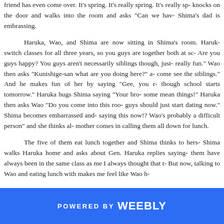friend has even come over. It's spring. It's really spring. It's really sp- knocks on the door and walks into the room and asks "Can we hav- Shima's dad is embrassing.
Haruka, Wao, and Shima are now sitting in Shima's room. Haruk- switch classes for all three years, so you guys are together both at sc- Are you guys happy? You guys aren't necessarily siblings though, just- really fun." Wao then asks "Kunishige-san what are you doing here?" a- come see the siblings." And he makes fun of her by saying "Gee, you r- though school starts tomorrow." Haruka hugs Shima saying "Your bro- some mean things!" Haruka then asks Wao "Do you come into this roo- guys should just start dating now." Shima becomes embarrassed and- saying this now!? Wao's probably a difficult person" and she thinks al- mother comes in calling them all down for lunch.
The five of them eat lunch together and Shima thinks to hers- Shima walks Haruka home and asks about Gen. Haruka replies saying- them have always been in the same class as me I always thought that t- But now, talking to Wao and eating lunch with makes me feel like Wao h-
POWERED BY weebly